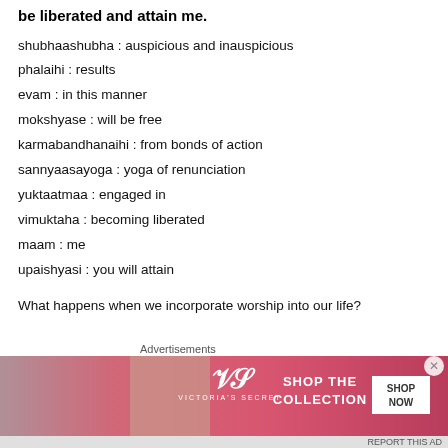be liberated and attain me.
shubhaashubha : auspicious and inauspicious
phalaihi : results
evam : in this manner
mokshyase : will be free
karmabandhanaihi : from bonds of action
sannyaasayoga : yoga of renunciation
yuktaatmaa : engaged in
vimuktaha : becoming liberated
maam : me
upaishyasi : you will attain
What happens when we incorporate worship into our life?
[Figure (screenshot): Victoria's Secret advertisement banner with model, VS logo, 'SHOP THE COLLECTION' text and 'SHOP NOW' button]